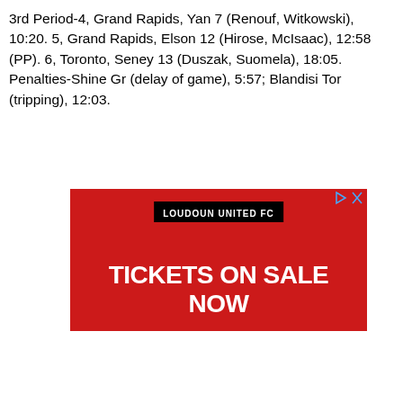3rd Period-4, Grand Rapids, Yan 7 (Renouf, Witkowski), 10:20. 5, Grand Rapids, Elson 12 (Hirose, McIsaac), 12:58 (PP). 6, Toronto, Seney 13 (Duszak, Suomela), 18:05. Penalties-Shine Gr (delay of game), 5:57; Blandisi Tor (tripping), 12:03.
[Figure (other): Advertisement for Loudoun United FC: red background with black banner reading 'LOUDOUN UNITED FC' and large white text 'TICKETS ON SALE NOW'. Has a play/close icon in top right corner.]